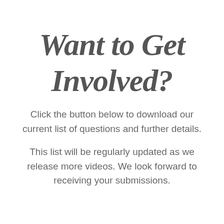Want to Get Involved?
Click the button below to download our current list of questions and further details.
This list will be regularly updated as we release more videos. We look forward to receiving your submissions.